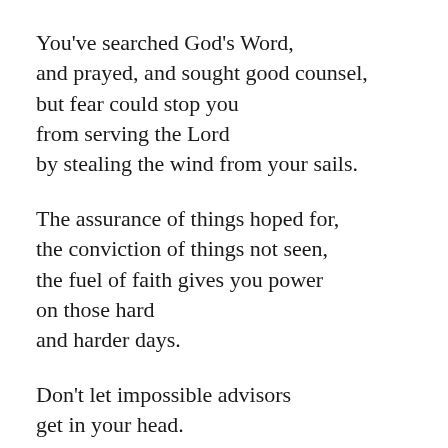You've searched God's Word,
and prayed, and sought good counsel,
but fear could stop you
from serving the Lord
by stealing the wind from your sails.
The assurance of things hoped for,
the conviction of things not seen,
the fuel of faith gives you power
on those hard
and harder days.
Don't let impossible advisors
get in your head.
Don't subscribe to their social media,
don't take their calls,
block them instead.